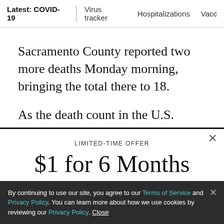Latest: COVID-19 | Virus tracker | Hospitalizations | Vacc...
Sacramento County reported two more deaths Monday morning, bringing the total there to 18.
As the death count in the U.S. surpassed 10,000,
LIMITED-TIME OFFER
$1 for 6 Months
SUBSCRIBE NOW
By continuing to use our site, you agree to our Terms of Service and Privacy Policy. You can learn more about how we use cookies by reviewing our Privacy Policy. Close